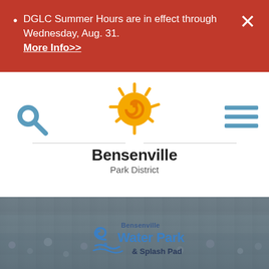DGLC Summer Hours are in effect through Wednesday, Aug. 31. More Info>>
[Figure (logo): Bensenville Park District logo: a stylized sun with a spiral swirl center in orange/yellow, with rays around it. Below reads 'Bensenville' in bold dark text and 'Park District' in lighter gray text.]
[Figure (screenshot): A search (magnifying glass) icon in blue on the left side of the navigation header.]
[Figure (infographic): A hamburger menu icon (three horizontal blue lines) on the right side of the navigation header.]
[Figure (photo): A faded background photo of a crowded outdoor water park/splash pad with people in the water. Overlaid with the 'Bensenville Water Park & Splash Pad' logo in blue and dark text.]